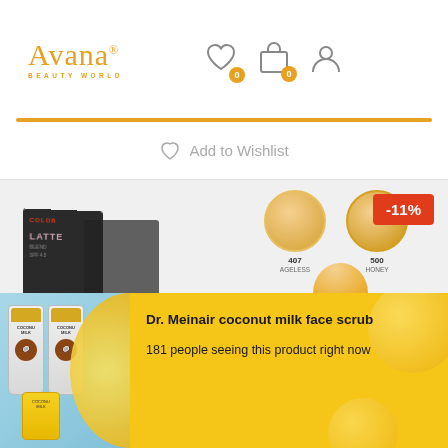Avana BEAUTY WORLD — navigation header with wishlist (0), cart (0), and user icons
Add to Wishlist
[Figure (photo): Product photo showing cosmetics — a dark box with COLOR/LATTE text and color swatches showing 407 AGELESS and 500 HONEY shades, with a -11% discount badge]
[Figure (photo): Product popup thumbnail showing Dr. Meinair coconut milk face scrub bottles on blue background]
Dr. Meinair coconut milk face scrub
181 people seeing this product right now